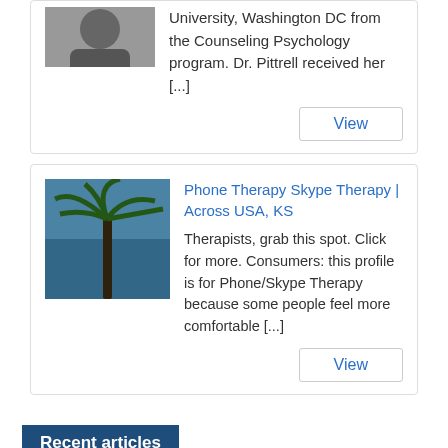University, Washington DC from the Counseling Psychology program. Dr. Pittrell received her [...]
View
Phone Therapy Skype Therapy | Across USA, KS
Therapists, grab this spot. Click for more. Consumers: this profile is for Phone/Skype Therapy because some people feel more comfortable [...]
View
Recent articles
[Figure (photo): Faded watermark-style illustration, light beige background with abstract figure/hands motif]